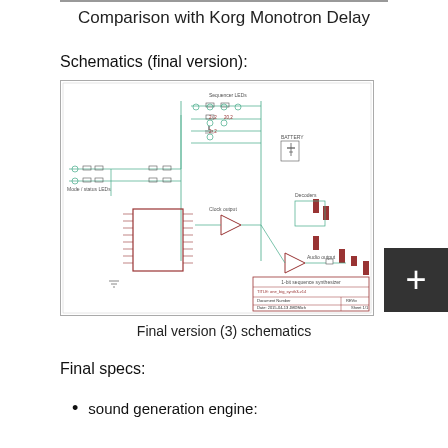Comparison with Korg Monotron Delay
Schematics (final version):
[Figure (schematic): Electronic circuit schematic for a 1-bit sequence synthesizer (final version). Shows components including Mode/status LEDs, Sequencer LEDs, Battery, Decoders, Clock output, Audio output, and various resistors, capacitors, and logic ICs. Title block reads: 1-bit sequence synthesizer, TITLE: one_big_synth3-v14, Document Number, REV, Date: 2015-04-13 JMDMich, Sheet 1/1]
Final version (3) schematics
Final specs:
sound generation engine: